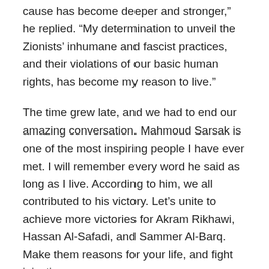cause has become deeper and stronger,” he replied. “My determination to unveil the Zionists’ inhumane and fascist practices, and their violations of our basic human rights, has become my reason to live.”
The time grew late, and we had to end our amazing conversation. Mahmoud Sarsak is one of the most inspiring people I have ever met. I will remember every word he said as long as I live. According to him, we all contributed to his victory. Let’s unite to achieve more victories for Akram Rikhawi, Hassan Al-Safadi, and Sammer Al-Barq. Make them reasons for your life, and fight injustice any way you can.
Rate this: